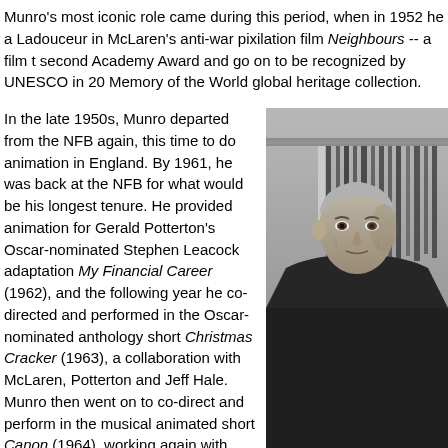Munro's most iconic role came during this period, when in 1952 he a Ladouceur in McLaren's anti-war pixilation film Neighbours -- a film t second Academy Award and go on to be recognized by UNESCO in 20 Memory of the World global heritage collection.
In the late 1950s, Munro departed from the NFB again, this time to do animation in England. By 1961, he was back at the NFB for what would be his longest tenure. He provided animation for Gerald Potterton's Oscar-nominated Stephen Leacock adaptation My Financial Career (1962), and the following year he co-directed and performed in the Oscar-nominated anthology short Christmas Cracker (1963), a collaboration with McLaren, Potterton and Jeff Hale. Munro then went on to co-direct and perform in the musical animated short Canon (1964), working again with McLaren.
[Figure (photo): Black and white photograph of an older man in a dark jacket standing near a rack of hanging belts or straps, looking toward the camera]